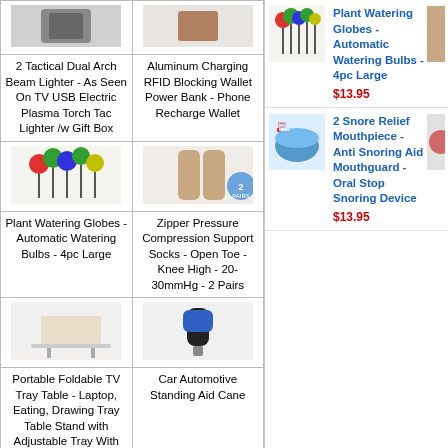| Product Image | Product Image |
| --- | --- |
| [lighter image] | Aluminum Charging RFID Blocking Wallet Power Bank - Phone Recharge Wallet |
| 2 Tactical Dual Arch Beam Lighter - As Seen On TV USB Electric Plasma Torch Tac Lighter /w Gift Box | Aluminum Charging RFID Blocking Wallet Power Bank - Phone Recharge Wallet |
| [plant watering globes image] | [compression socks image] |
| Plant Watering Globes - Automatic Watering Bulbs - 4pc Large | Zipper Pressure Compression Support Socks - Open Toe - Knee High - 20-30mmHg - 2 Pairs |
| [tv tray image] | [car cane image] |
| Portable Foldable TV Tray Table - Laptop, Eating, Drawing Tray Table Stand with Adjustable Tray With Sliding Adjustable Cup Holder | Car Automotive Standing Aid Cane |
[Figure (photo): Plant Watering Globes product thumbnail]
Plant Watering Globes - Automatic Watering Bulbs - 4pc Large
$13.95
[Figure (photo): 2 Snore Relief Mouthpiece product thumbnail]
2 Snore Relief Mouthpiece - Anti Snoring Aid Mouthguard - Oral Stop Snoring Device
$13.95